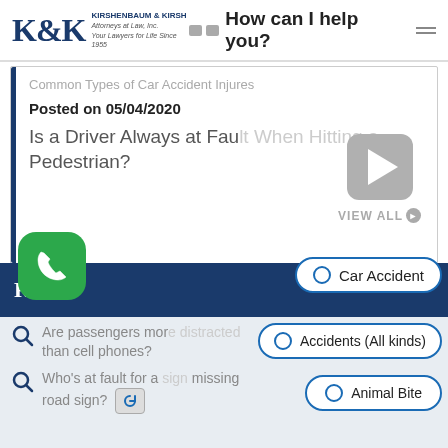[Figure (logo): K&K Kirshenbaum & Kirsh Attorneys at Law Inc. logo]
How can I help you?
Common Types of Car Accident Injuries
Posted on 05/04/2020
Is a Driver Always at Fault When Hitting a Pedestrian?
[Figure (illustration): Play button and VIEW ALL button]
Car Accident
Accidents (All kinds)
Animal Bite
Are passengers more distracted than cell phones?
Who's at fault for a missing road sign?
[Figure (illustration): Green phone call button]